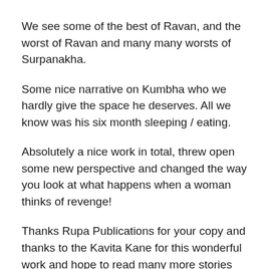We see some of the best of Ravan, and the worst of Ravan and many many worsts of Surpanakha.
Some nice narrative on Kumbha who we hardly give the space he deserves. All we know was his six month sleeping / eating.
Absolutely a nice work in total, threw open some new perspective and changed the way you look at what happens when a woman thinks of revenge!
Thanks Rupa Publications for your copy and thanks to the Kavita Kane for this wonderful work and hope to read many more stories that needs to be told.
PS: The author Kavita Kane specialises in telling the stories of some of the important women in the epics thorough their first person account or through their eyes.